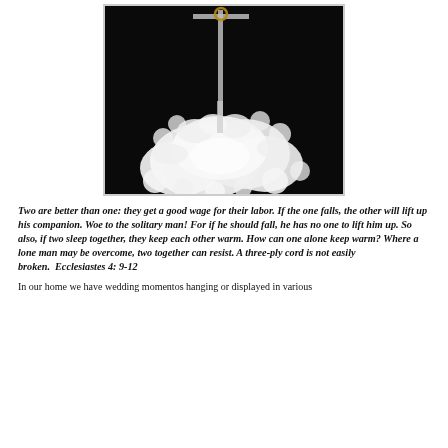[Figure (photo): Black and white photograph showing a cross-shaped ornament or decoration with white lace or snowflake-like decorative elements around its base, set against a dark background.]
Two are better than one: they get a good wage for their labor. If the one falls, the other will lift up his companion. Woe to the solitary man! For if he should fall, he has no one to lift him up. So also, if two sleep together, they keep each other warm. How can one alone keep warm? Where a lone man may be overcome, two together can resist. A three-ply cord is not easily broken.  Ecclesiastes 4: 9-12
In our home we have wedding momentos hanging or displayed in various